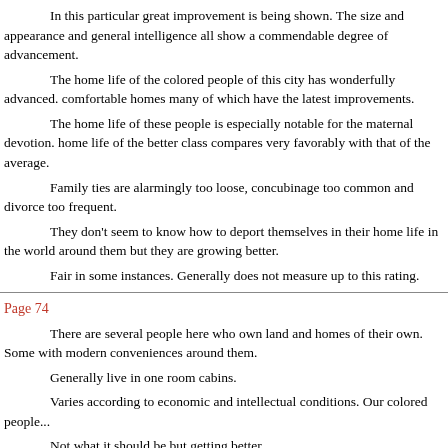In this particular great improvement is being shown. The size and appearance and general intelligence all show a commendable degree of advancement.
The home life of the colored people of this city has wonderfully advanced. comfortable homes many of which have the latest improvements.
The home life of these people is especially notable for the maternal devotion. home life of the better class compares very favorably with that of the average.
Family ties are alarmingly too loose, concubinage too common and divorce too frequent.
They don't seem to know how to deport themselves in their home life in the world around them but they are growing better.
Fair in some instances. Generally does not measure up to this rating.
Page 74
There are several people here who own land and homes of their own. Some with modern conveniences around them.
Generally live in one room cabins.
Varies according to economic and intellectual conditions. Our colored people...
Not what it should be but getting better.
More in evidence and becoming of greater moment in the thot and plans...
The home life among colored people in the South is so much like that of... engaged without a clear knowledge of the rules governing it. For reasons wh...